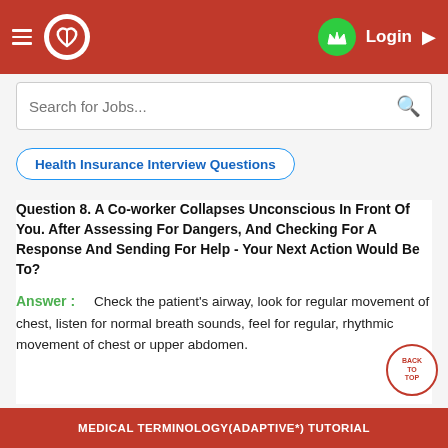Health Insurance Interview Questions - Medical Terminology Tutorial
Search for Jobs...
Health Insurance Interview Questions
Question 8. A Co-worker Collapses Unconscious In Front Of You. After Assessing For Dangers, And Checking For A Response And Sending For Help - Your Next Action Would Be To?
Answer: Check the patient's airway, look for regular movement of chest, listen for normal breath sounds, feel for regular, rhythmic movement of chest or upper abdomen.
MEDICAL TERMINOLOGY(ADAPTIVE*) TUTORIAL